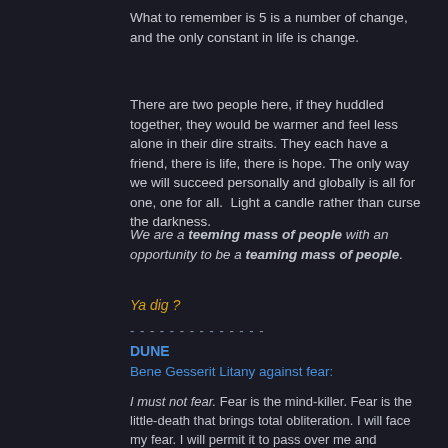What to remember is 5 is a number of change, and the only constant in life is change.
There are two people here, if they huddled together, they would be warmer and feel less alone in their dire straits. They each have a friend, there is life, there is hope. The only way we will succeed personally and globally is all for one, one for all.  Light a candle rather than curse the darkness.
We are a teeming mass of people with an opportunity to be a teaming mass of people.
Ya dig ?
- - - - - - - - - - - - - -
DUNE
Bene Gesserit Litany against fear:
I must not fear. Fear is the mind-killer. Fear is the little-death that brings total obliteration. I will face my fear. I will permit it to pass over me and through me. And when it has gone past I will turn the inner eye to see its path. Where the fear